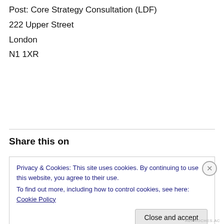Post: Core Strategy Consultation (LDF)
222 Upper Street
London
N1 1XR
Share this on
Privacy & Cookies: This site uses cookies. By continuing to use this website, you agree to their use.
To find out more, including how to control cookies, see here: Cookie Policy
Close and accept
REPROCHES.AC